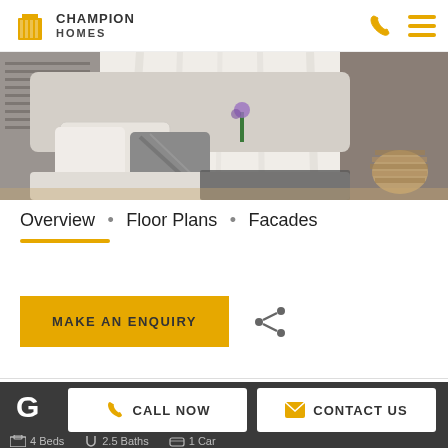Champion Homes
[Figure (photo): Interior bedroom photo showing a bed with white and grey pillows, white curtains, and a woven basket on the right side.]
Overview • Floor Plans • Facades
MAKE AN ENQUIRY
G
CALL NOW
CONTACT US
4 Beds
2.5 Baths
1 Car